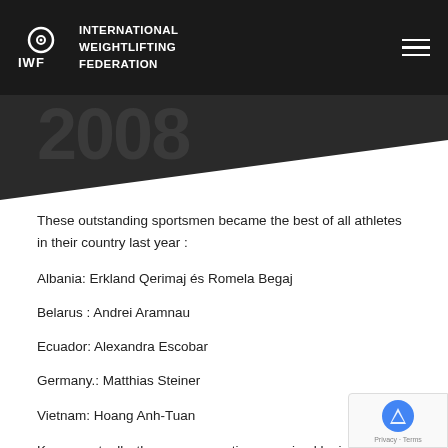IWF INTERNATIONAL WEIGHTLIFTING FEDERATION
2008
These outstanding sportsmen became the best of all athletes in their country last year :
Albania: Erkland Qerimaj és Romela Begaj
Belarus : Andrei Aramnau
Ecuador: Alexandra Escobar
Germany.: Matthias Steiner
Vietnam: Hoang Anh-Tuan
Korea : actually, there was no voting organized by jounalists best sportsmen of.the country.But Korea Sports Council (Korean